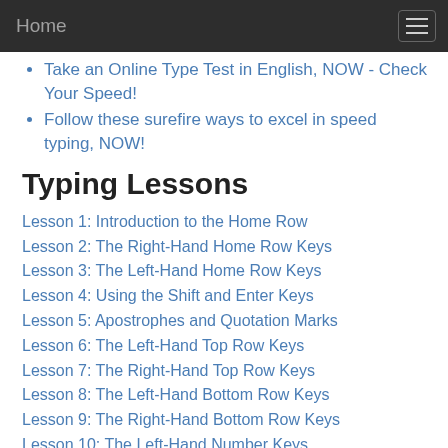Home
Take an Online Type Test in English, NOW - Check Your Speed!
Follow these surefire ways to excel in speed typing, NOW!
Typing Lessons
Lesson 1: Introduction to the Home Row
Lesson 2: The Right-Hand Home Row Keys
Lesson 3: The Left-Hand Home Row Keys
Lesson 4: Using the Shift and Enter Keys
Lesson 5: Apostrophes and Quotation Marks
Lesson 6: The Left-Hand Top Row Keys
Lesson 7: The Right-Hand Top Row Keys
Lesson 8: The Left-Hand Bottom Row Keys
Lesson 9: The Right-Hand Bottom Row Keys
Lesson 10: The Left-Hand Number Keys
Lesson 11: The Right-Hand Number Keys